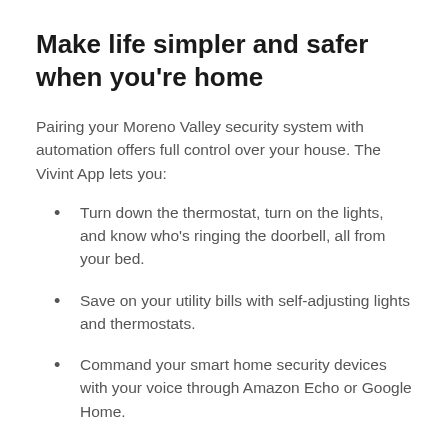Make life simpler and safer when you're home
Pairing your Moreno Valley security system with automation offers full control over your house. The Vivint App lets you:
Turn down the thermostat, turn on the lights, and know who's ringing the doorbell, all from your bed.
Save on your utility bills with self-adjusting lights and thermostats.
Command your smart home security devices with your voice through Amazon Echo or Google Home.